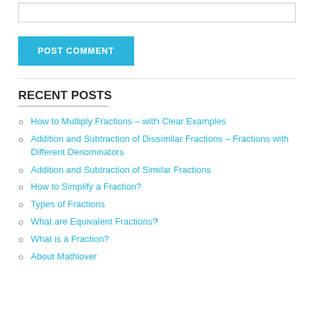[Figure (other): Text input box (comment field)]
POST COMMENT
How to Multiply Fractions – with Clear Examples
Addition and Subtraction of Dissimilar Fractions – Fractions with Different Denominators
Addition and Subtraction of Similar Fractions
How to Simplify a Fraction?
Types of Fractions
What are Equivalent Fractions?
What is a Fraction?
About Mathlover